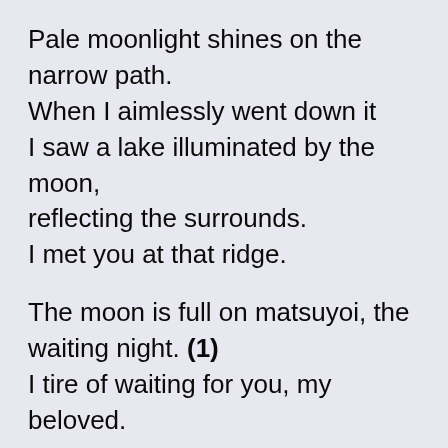Pale moonlight shines on the narrow path.
When I aimlessly went down it
I saw a lake illuminated by the moon,
reflecting the surrounds.
I met you at that ridge.
The moon is full on matsuyoi, the waiting night. (1)
I tire of waiting for you, my beloved.
I float a boat on the lake, and two figures are reflected on its surface.
My passionate gaze rests on the moon, sent rippling by the boat.